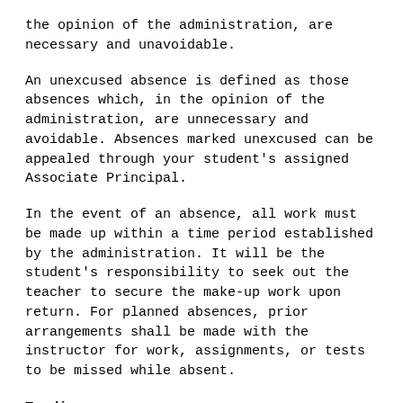the opinion of the administration, are necessary and unavoidable.
An unexcused absence is defined as those absences which, in the opinion of the administration, are unnecessary and avoidable. Absences marked unexcused can be appealed through your student's assigned Associate Principal.
In the event of an absence, all work must be made up within a time period established by the administration. It will be the student's responsibility to seek out the teacher to secure the make-up work upon return. For planned absences, prior arrangements shall be made with the instructor for work, assignments, or tests to be missed while absent.
Tardiness
Being on time is a basic promise to success and the